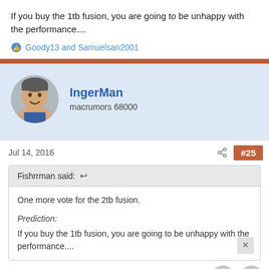If you buy the 1tb fusion, you are going to be unhappy with the performance....
Goody13 and Samuelsan2001
IngerMan
macrumors 68000
Jul 14, 2016
#25
Fishrrman said:
One more vote for the 2tb fusion.

Prediction:
If you buy the 1tb fusion, you are going to be unhappy with the performance....